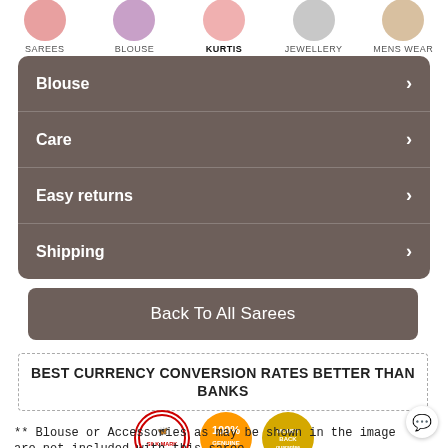[Figure (screenshot): Top navigation bar with circular category icons: SAREES, BLOUSE, KURTIS (bold/active), JEWELLERY, MENS WEAR]
Blouse
Care
Easy returns
Shipping
Back To All Sarees
BEST CURRENCY CONVERSION RATES BETTER THAN BANKS
[Figure (logo): Three badges: Silk Mark logo, 100% Genuine Quality badge (orange), Money Back guarantee badge (gold)]
** Blouse or Accessories as may be shown in the image are not included with this saree.